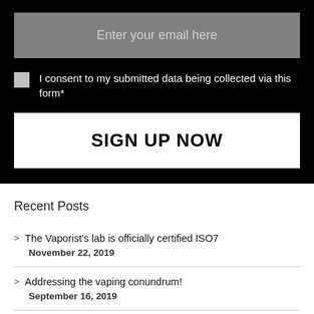[Figure (screenshot): Email signup form with gray input box labeled 'Enter your email here', a checkbox with consent text, and a white 'SIGN UP NOW' button on a black background]
Recent Posts
The Vaporist's lab is officially certified ISO7
November 22, 2019
Addressing the vaping conundrum!
September 16, 2019
Vape Related Incidents/Illness/Death reported by the media
September 9, 2019